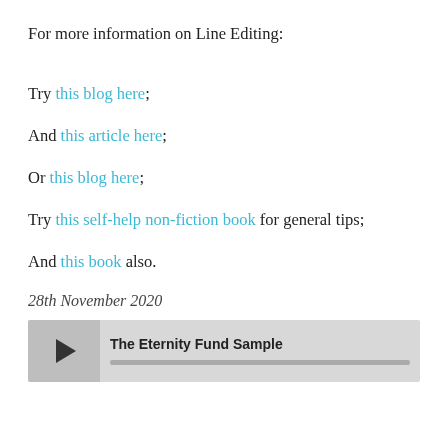For more information on Line Editing:
Try this blog here;
And this article here;
Or this blog here;
Try this self-help non-fiction book for general tips;
And this book also.
28th November 2020
[Figure (other): Audio player bar with play button and progress bar, titled 'The Eternity Fund Sample']